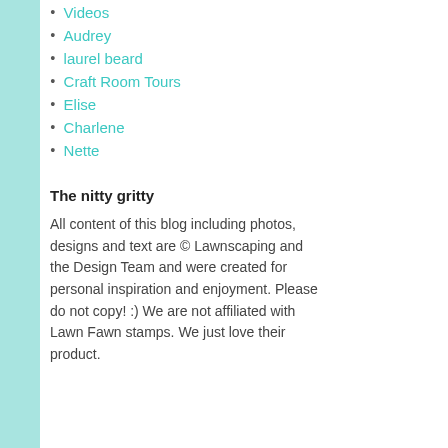Videos
Audrey
laurel beard
Craft Room Tours
Elise
Charlene
Nette
The nitty gritty
All content of this blog including photos, designs and text are © Lawnscaping and the Design Team and were created for personal inspiration and enjoyment. Please do not copy! :) We are not affiliated with Lawn Fawn stamps. We just love their product.